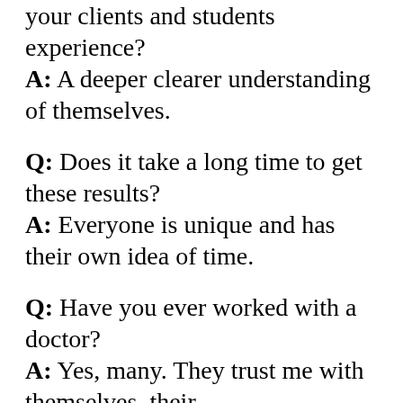your clients and students experience?
A: A deeper clearer understanding of themselves.
Q: Does it take a long time to get these results?
A: Everyone is unique and has their own idea of time.
Q: Have you ever worked with a doctor?
A: Yes, many. They trust me with themselves, their families, their friends, and